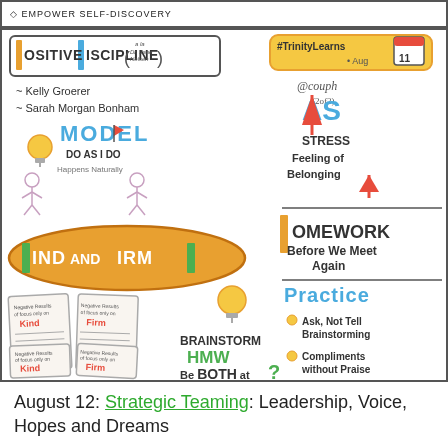[Figure (illustration): Sketchnote illustration about Positive Discipline (a la Dr. Jane Nelsen) by Kelly Groerer and Sarah Morgan Bonham. Topics include: MODEL - Do As I Do, Happens Naturally; KIND AND FIRM (in orange oval); Homework Before We Meet Again; Practice: Ask Not Tell Brainstorming, Compliments Without Praise; Brainstorm HMW Be Both at the Same Time?; AS Stress increases, Feeling of Belonging decreases; #TrinityLearns Aug 11 @couph (2of2). Four document panels show negative results of focusing only on Kind or only on Firm.]
August 12: Strategic Teaming: Leadership, Voice, Hopes and Dreams